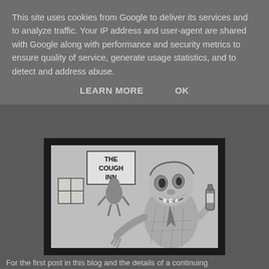This site uses cookies from Google to deliver its services and to analyze traffic. Your IP address and user-agent are shared with Google along with performance and security metrics to ensure quality of service, generate usage statistics, and to detect and address abuse.
LEARN MORE   OK
[Figure (illustration): Black and white biro illustration of zombie-like creatures at a pub called 'The Cough Inn'. One zombie in foreground holding a bottle, another figure in background near a window.]
(Black biro on 105mm x 74mm card)
- NOT AVAILABLE -
For the first post in this blog and the details of a continuing